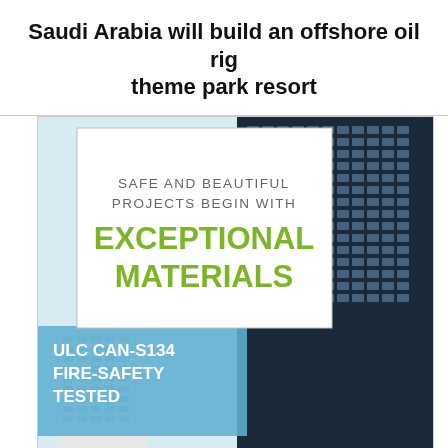Saudi Arabia will build an offshore oil rig theme park resort
[Figure (illustration): Advertisement showing a modern high-rise building with glass facade. Text overlay reads: 'Safe and beautiful projects begin with EXCEPTIONAL MATERIALS'. Lower left blue band reads 'ULC CAN-S134 FIRE-SAFETY TESTED'.]